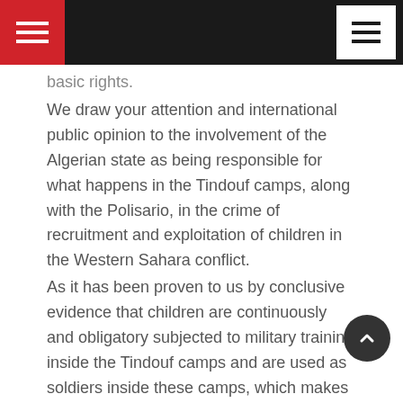[Navigation header with hamburger menus]
basic rights.
We draw your attention and international public opinion to the involvement of the Algerian state as being responsible for what happens in the Tindouf camps, along with the Polisario, in the crime of recruitment and exploitation of children in the Western Sahara conflict.
As it has been proven to us by conclusive evidence that children are continuously and obligatory subjected to military training inside the Tindouf camps and are used as soldiers inside these camps, which makes them vulnerable to all forms of violations related to this crime, and in complete silence by the Algerian state as it is the first responsible before the United Nations for any violations committed in or outside the Tindouf camps, which are located on its